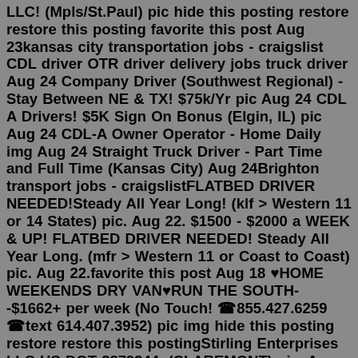LLC! (Mpls/St.Paul) pic hide this posting restore restore this posting favorite this post Aug 23kansas city transportation jobs - craigslist CDL driver OTR driver delivery jobs truck driver Aug 24 Company Driver (Southwest Regional) - Stay Between NE & TX! $75k/Yr pic Aug 24 CDL A Drivers! $5K Sign On Bonus (Elgin, IL) pic Aug 24 CDL-A Owner Operator - Home Daily img Aug 24 Straight Truck Driver - Part Time and Full Time (Kansas City) Aug 24Brighton transport jobs - craigslistFLATBED DRIVER NEEDED!Steady All Year Long! (klf > Western 11 or 14 States) pic. Aug 22. $1500 - $2000 a WEEK & UP! FLATBED DRIVER NEEDED! Steady All Year Long. (mfr > Western 11 or Coast to Coast) pic. Aug 22.favorite this post Aug 18 ♥HOME WEEKENDS DRY VAN♥RUN THE SOUTH--$1662+ per week (No Touch! ☎855.427.6259 ☎text 614.407.3952) pic img hide this posting restore restore this postingStirling Enterprises LLC US DOT 3879344. (CLAREMONT) pic. Aug 25. NH Seacoast Moving Labor Most Trusted Pro's-5 Star Rated. Call